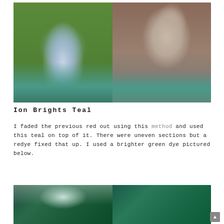[Figure (photo): Two side-by-side photos of a woman with teal/blue-green dyed hair. Left photo shows her outdoors with green foliage background, wearing a teal top. Right photo is a close-up selfie showing teal hair and holding a pink item.]
Ion Brights Teal
I faded the previous red out using this method and used this teal on top of it. There were uneven sections but a redye fixed that up. I used a brighter green dye pictured below.
[Figure (photo): Two side-by-side photos showing the back/top view of dark teal/green dyed hair.]